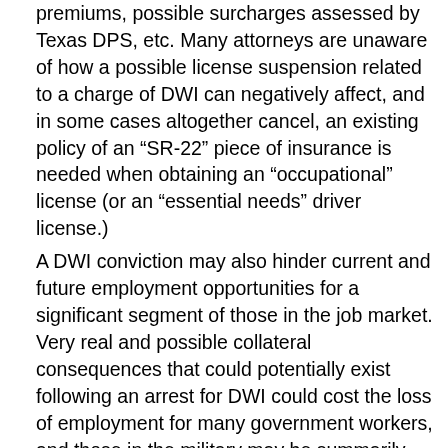premiums, possible surcharges assessed by Texas DPS, etc. Many attorneys are unaware of how a possible license suspension related to a charge of DWI can negatively affect, and in some cases altogether cancel, an existing policy of an “SR-22” piece of insurance is needed when obtaining an “occupational” license (or an “essential needs” driver license.)
A DWI conviction may also hinder current and future employment opportunities for a significant segment of those in the job market. Very real and possible collateral consequences that could potentially exist following an arrest for DWI could cost the loss of employment for many government workers, and those in the military may be summarily discharged from service following a DWI arrest and/or subsequent to a conviction. Those working in a professional capacity with a license, such as doctors, attorneys, nurses, judges, etc. may possibly face disciplinary proceedings by their respective